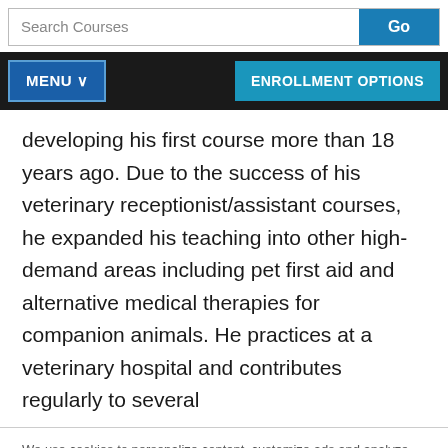[Figure (screenshot): Search Courses input bar with Go button]
[Figure (screenshot): Navigation bar with MENU dropdown and ENROLLMENT OPTIONS button]
developing his first course more than 18 years ago. Due to the success of his veterinary receptionist/assistant courses, he expanded his teaching into other high-demand areas including pet first aid and alternative medical therapies for companion animals. He practices at a veterinary hospital and contributes regularly to several
We use cookies to personalize content, customize ads and analyze traffic on our site.  Privacy policy
Manage Options  Accept